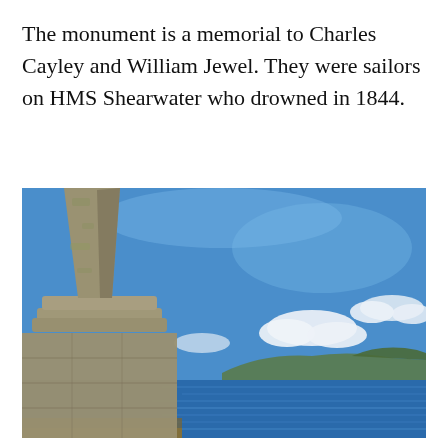The monument is a memorial to Charles Cayley and William Jewel. They were sailors on HMS Shearwater who drowned in 1844.
[Figure (photo): A stone obelisk monument in the foreground on the left, showing a tall tapering column on a stepped base, covered in lichen. Behind it, a blue sea (firth or bay) with a green hillside in the distance under a bright blue sky with white clouds.]